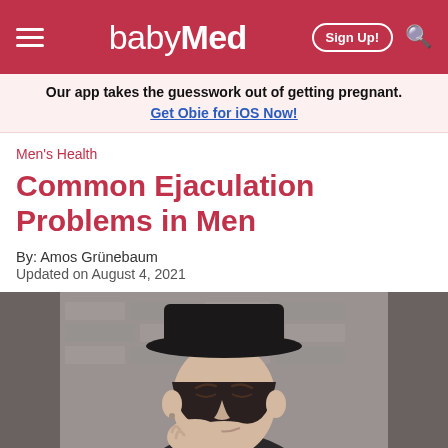babyMed — Sign Up! [search]
Our app takes the guesswork out of getting pregnant. Get Obie for iOS Now!
Men's Health
Common Ejaculation Problems in Men
By: Amos Grünebaum
Updated on August 4, 2021
[Figure (photo): Black and white photo of a young Asian man wearing a black hat, looking down, resting his chin on his hand]
By using this website, you agree to our use of cookies. We use cookies to